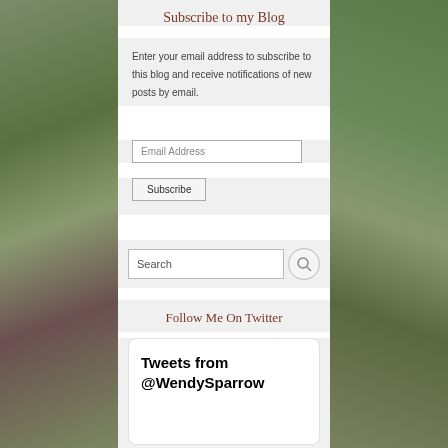Subscribe to my Blog
Enter your email address to subscribe to this blog and receive notifications of new posts by email.
Email Address
Subscribe
Search
Follow Me On Twitter
Tweets from @WendySparrow